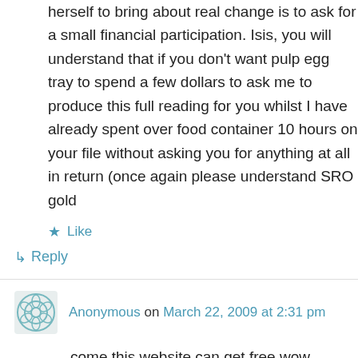herself to bring about real change is to ask for a small financial participation. Isis, you will understand that if you don't want pulp egg tray to spend a few dollars to ask me to produce this full reading for you whilst I have already spent over food container 10 hours on your file without asking you for anything at all in return (once again please understand SRO gold
★ Like
↳ Reply
Anonymous on March 22, 2009 at 2:31 pm
come this website can get free wow gold,wow gold guide,gold wow also more for you.when you wow gold farming be called farmer here some